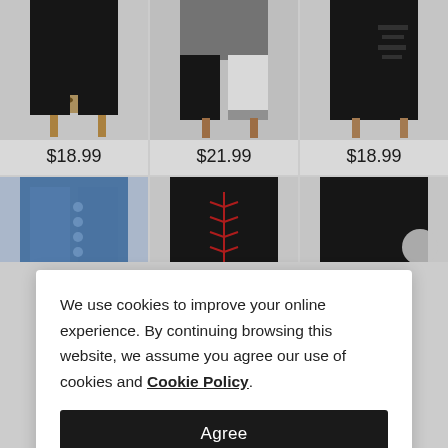[Figure (photo): Product grid of 6 fashion leggings. Top row: black leggings with leopard print hem ($18.99), black/grey color-block leggings ($21.99), black ripped leggings ($18.99). Bottom row (partially visible): blue denim-style leggings, black leggings with red lace-up detail, black leggings.]
We use cookies to improve your online experience. By continuing browsing this website, we assume you agree our use of cookies and Cookie Policy.
Agree